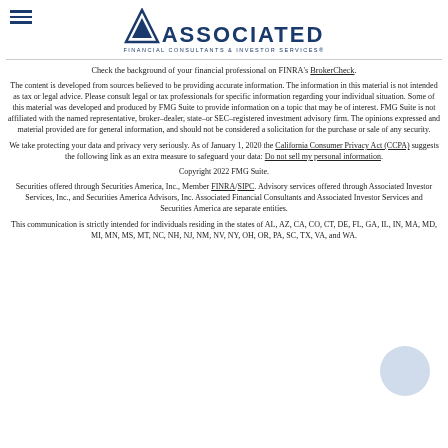[Figure (logo): Associated Financial Consultants & Investor Services logo with triangle/mountain icon and hamburger menu icon]
Check the background of your financial professional on FINRA's BrokerCheck.
The content is developed from sources believed to be providing accurate information. The information in this material is not intended as tax or legal advice. Please consult legal or tax professionals for specific information regarding your individual situation. Some of this material was developed and produced by FMG Suite to provide information on a topic that may be of interest. FMG Suite is not affiliated with the named representative, broker–dealer, state–or SEC–registered investment advisory firm. The opinions expressed and material provided are for general information, and should not be considered a solicitation for the purchase or sale of any security.
We take protecting your data and privacy very seriously. As of January 1, 2020 the California Consumer Privacy Act (CCPA) suggests the following link as an extra measure to safeguard your data: Do not sell my personal information.
Copyright 2022 FMG Suite.
Securities offered through Securities America, Inc., Member FINRA/SIPC. Advisory services offered through Associated Investor Services, Inc., and Securities America Advisors, Inc. Associated Financial Consultants and Associated Investor Services and Securities America are separate entities.
This communication is strictly intended for individuals residing in the states of AL, AZ, CA, CO, CT, DE, FL, GA, IL, IN, MA, MD, MI, MN, MS, MT, NC, NH, NJ, NM, NV, NY, OH, OR, PA, SC, TX, VA, and WA.